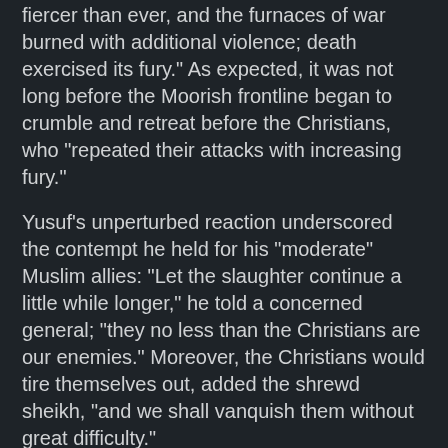fiercer than ever, and the furnaces of war burned with additional violence; death exercised its fury." As expected, it was not long before the Moorish frontline began to crumble and retreat before the Christians, who "repeated their attacks with increasing fury."
Yusuf's unperturbed reaction underscored the contempt he held for his "moderate" Muslim allies: "Let the slaughter continue a little while longer," he told a concerned general; "they no less than the Christians are our enemies." Moreover, the Christians would tire themselves out, added the shrewd sheikh, "and we shall vanquish them without great difficulty."
Before long, Alfonso and his knights had penetrated to the rear of the Muslim encampment. Yet Yusuf was nowhere to be found. He had divided his forces into three: one (finally) to aid the nearly routed Andalusians, and one to engage Alfonso; the last, led